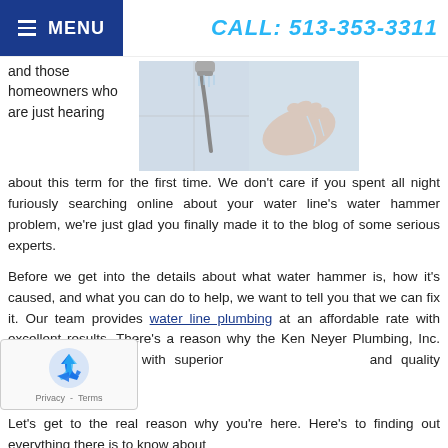MENU | CALL: 513-353-3311
[Figure (photo): Person holding hand under shower head with water flowing, close-up photo]
and those homeowners who are just hearing about this term for the first time. We don't care if you spent all night furiously searching online about your water line's water hammer problem, we're just glad you finally made it to the blog of some serious experts.
Before we get into the details about what water hammer is, how it's caused, and what you can do to help, we want to tell you that we can fix it. Our team provides water line plumbing at an affordable rate with excellent results. There's a reason why the Ken Neyer Plumbing, Inc. name is associated with superior and quality plumbing systems.
Let's get to the real reason why you're here. Here's to finding out everything there is to know about
[Figure (other): reCAPTCHA widget with recycling arrows logo and Privacy - Terms links]